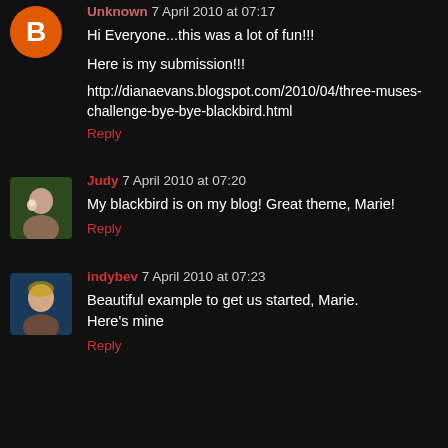Unknown 7 April 2010 at 07:17
Hi Everyone...this was a lot of fun!!!
Here is my submission!!!
http://dianaevans.blogspot.com/2010/04/three-muses-challenge-bye-bye-blackbird.html
Reply
Judy 7 April 2010 at 07:20
My blackbird is on my blog! Great theme, Marie!
Reply
indybev 7 April 2010 at 07:23
Beautiful example to get us started, Marie.
Here's mine
Reply